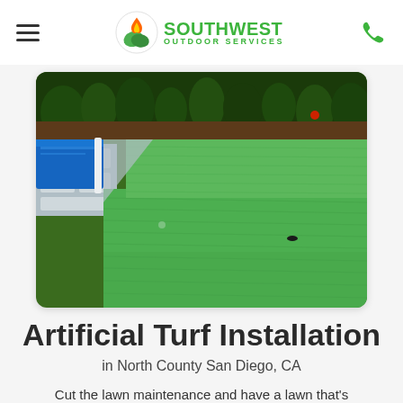Southwest Outdoor Services
[Figure (photo): Outdoor backyard with lush artificial green turf lawn, a swimming pool with white stone pavers, and green hedges/trees in the background.]
Artificial Turf Installation
in North County San Diego, CA
Cut the lawn maintenance and have a lawn that's